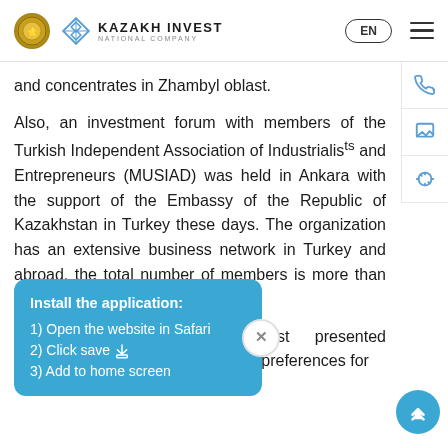KAZAKH INVEST NATIONAL COMPANY | EN
and concentrates in Zhambyl oblast.
Also, an investment forum with members of the Turkish Independent Association of Industrialists and Entrepreneurs (MUSIAD) was held in Ankara with the support of the Embassy of the Republic of Kazakhstan in Turkey these days. The organization has an extensive business network in Turkey and abroad, the total number of members is more than 11 thousand.
At the forum Kazakh Invest presented opportunities, measures m of preferences for
[Figure (screenshot): App installation popup overlay in blue: 'Install the application: 1) Open the website in Safari 2) Click save 3) Add to home screen' with a close X button]
The head of MUSIAD Hasan Erdal stressed that Turkish business is interested in building close